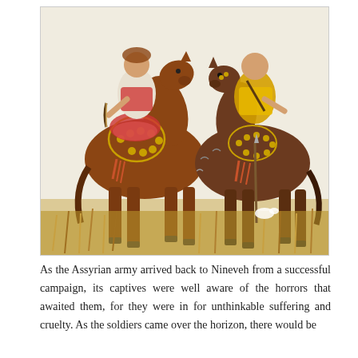[Figure (illustration): A color illustration showing two Assyrian cavalry soldiers riding ornately decorated brown horses through tall grass. The left rider wears red and white garments with elaborate gold horse tack with tassels; the right rider is dressed in yellow. Birds are visible in the background sky.]
As the Assyrian army arrived back to Nineveh from a successful campaign, its captives were well aware of the horrors that awaited them, for they were in for unthinkable suffering and cruelty. As the soldiers came over the horizon, there would be